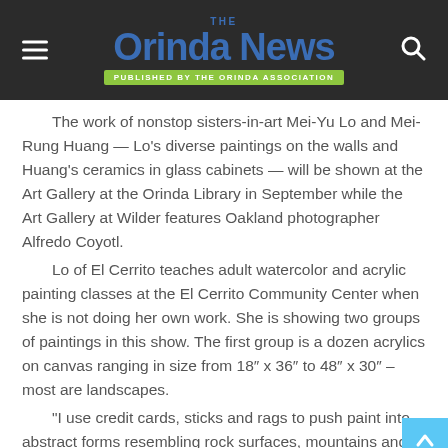The Orinda News — Published by the Orinda Association
The work of nonstop sisters-in-art Mei-Yu Lo and Mei-Rung Huang — Lo's diverse paintings on the walls and Huang's ceramics in glass cabinets — will be shown at the Art Gallery at the Orinda Library in September while the Art Gallery at Wilder features Oakland photographer Alfredo Coyotl.
Lo of El Cerrito teaches adult watercolor and acrylic painting classes at the El Cerrito Community Center when she is not doing her own work. She is showing two groups of paintings in this show. The first group is a dozen acrylics on canvas ranging in size from 18″ x 36″ to 48″ x 30″ – most are landscapes.
"I use credit cards, sticks and rags to push paint into abstract forms resembling rock surfaces, mountains and